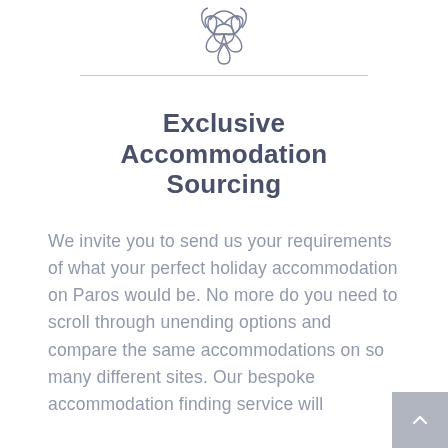[Figure (logo): Decorative geometric floral knot logo mark in gray outline style, centered at top of page]
Exclusive Accommodation Sourcing
We invite you to send us your requirements of what your perfect holiday accommodation on Paros would be. No more do you need to scroll through unending options and compare the same accommodations on so many different sites. Our bespoke accommodation finding service will